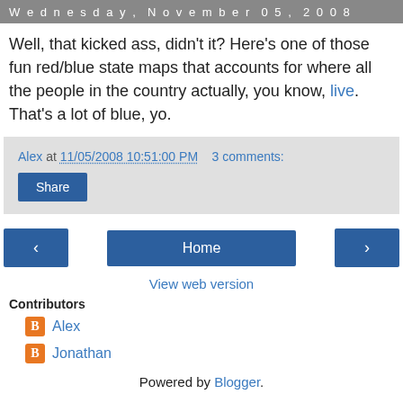Wednesday, November 05, 2008
Well, that kicked ass, didn't it? Here's one of those fun red/blue state maps that accounts for where all the people in the country actually, you know, live. That's a lot of blue, yo.
Alex at 11/05/2008 10:51:00 PM   3 comments:
Share
< Home >
View web version
Contributors
Alex
Jonathan
Powered by Blogger.